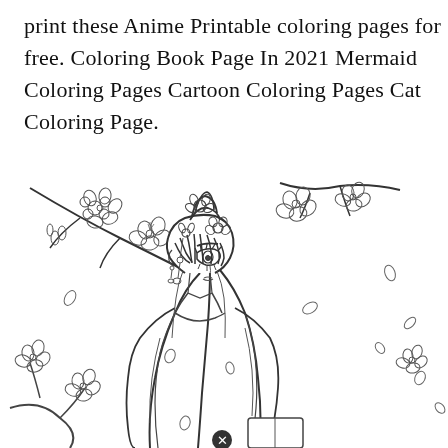print these Anime Printable coloring pages for free. Coloring Book Page In 2021 Mermaid Coloring Pages Cartoon Coloring Pages Cat Coloring Page.
[Figure (illustration): Anime-style line art coloring page showing a young girl with elaborate updo hairstyle decorated with flowers, long flowing hair, and traditional-style clothing. She is surrounded by cherry blossoms and falling petals. The image is uncolored black and white line art intended as a printable coloring page. A small close/delete button icon appears at the bottom center.]